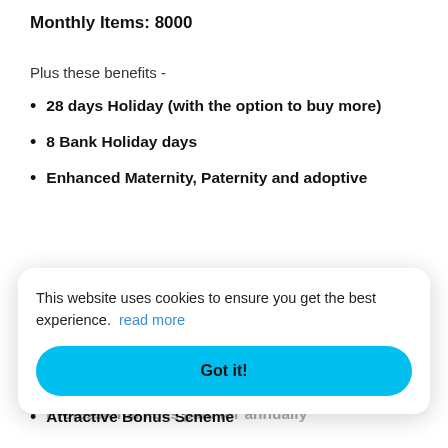Monthly Items: 8000
Plus these benefits -
28 days Holiday (with the option to buy more)
8 Bank Holiday days
Enhanced Maternity, Paternity and adoptive leave pay
Developmental Programmes
Opportunity to become ILM qualified
Professional Fees paid for annually
Attractive Bonus Scheme
This website uses cookies to ensure you get the best experience. read more
Got it!